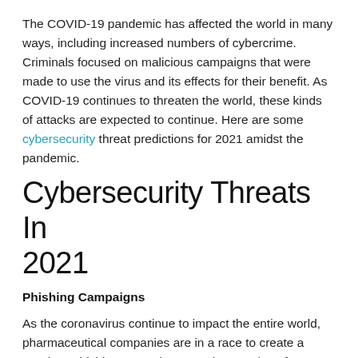The COVID-19 pandemic has affected the world in many ways, including increased numbers of cybercrime. Criminals focused on malicious campaigns that were made to use the virus and its effects for their benefit. As COVID-19 continues to threaten the world, these kinds of attacks are expected to continue. Here are some cybersecurity threat predictions for 2021 amidst the pandemic.
Cybersecurity Threats In 2021
Phishing Campaigns
As the coronavirus continue to impact the entire world, pharmaceutical companies are in a race to create a vaccine. Phishing campaigns use the promise of a vaccine and this tactic is expected to continue until 2021.